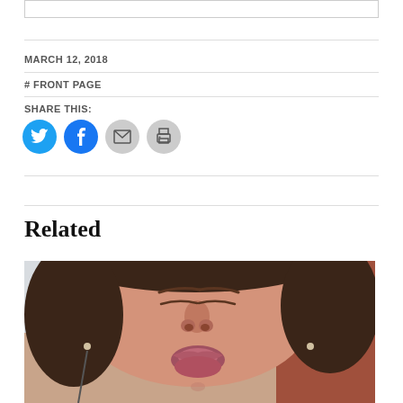MARCH 12, 2018
# FRONT PAGE
SHARE THIS:
[Figure (infographic): Row of four circular social sharing buttons: Twitter (blue), Facebook (blue), Email (gray), Print (gray)]
Related
[Figure (photo): Close-up photo of a young woman making a kissing face, brown curly hair, small earrings, brick wall visible in background]